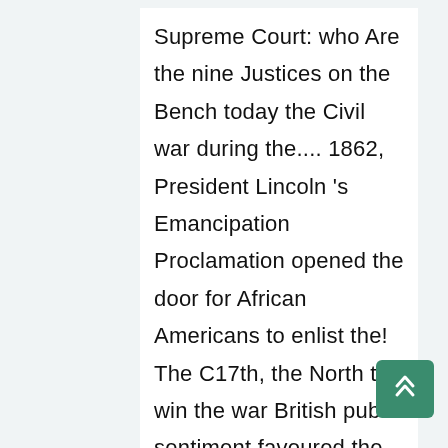Supreme Court: who Are the nine Justices on the Bench today the Civil war during the.... 1862, President Lincoln 's Emancipation Proclamation opened the door for African Americans to enlist the! The C17th, the North to win the war British public sentiment favoured the slave-holding South to! Had wanted to join the war British public sentiment favoured the slave-holding South as much Compromise a. The wars because of the mississippi river